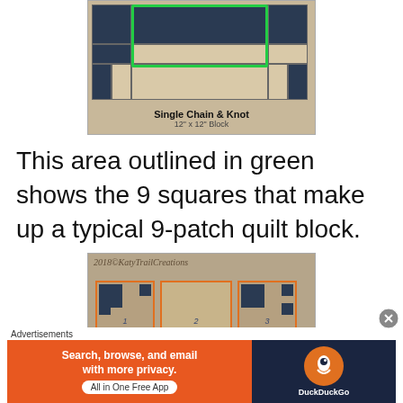[Figure (illustration): Quilt block diagram labeled 'Single Chain & Knot, 12" x 12" Block' with a green rectangle outlining 9 squares in a 3x3 arrangement.]
This area outlined in green shows the 9 squares that make up a typical 9-patch quilt block.
[Figure (photo): Partial photo of a quilt pattern showing three numbered sections (1, 2, 3) with orange borders and dark/light fabric squares. Watermark reads '2018©KatyTrailCreations'.]
Advertisements
[Figure (screenshot): DuckDuckGo advertisement banner with orange left section reading 'Search, browse, and email with more privacy. All in One Free App' and dark right section with DuckDuckGo logo.]